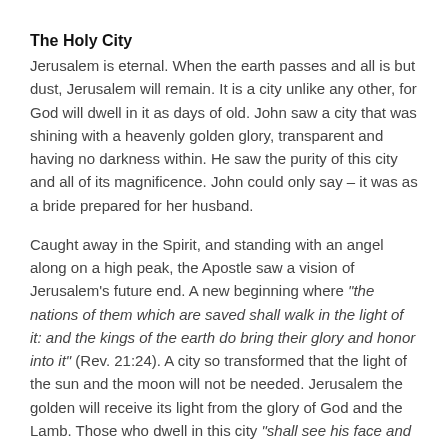The Holy City
Jerusalem is eternal. When the earth passes and all is but dust, Jerusalem will remain. It is a city unlike any other, for God will dwell in it as days of old. John saw a city that was shining with a heavenly golden glory, transparent and having no darkness within. He saw the purity of this city and all of its magnificence. John could only say – it was as a bride prepared for her husband.
Caught away in the Spirit, and standing with an angel along on a high peak, the Apostle saw a vision of Jerusalem's future end. A new beginning where “the nations of them which are saved shall walk in the light of it: and the kings of the earth do bring their glory and honor into it” (Rev. 21:24). A city so transformed that the light of the sun and the moon will not be needed. Jerusalem the golden will receive its light from the glory of God and the Lamb. Those who dwell in this city “shall see his face and his name shall be in their foreheads” (Rev. 22:3). Jerusalem, the city of peace, is where God will give His light eternally and where His servants “shall reign forever and ever.”
A Word of the LORD
As I sought the LORD, this scripture flashed into my mind like lighting: